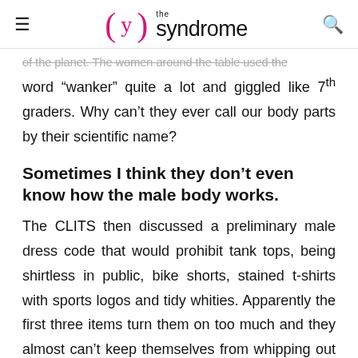(y) the syndrome
of the planet. The women around the table used the word “wanker” quite a lot and giggled like 7th graders. Why can’t they ever call our body parts by their scientific name?
Sometimes I think they don’t even know how the male body works.
The CLITS then discussed a preliminary male dress code that would prohibit tank tops, being shirtless in public, bike shorts, stained t-shirts with sports logos and tidy whities. Apparently the first three items turn them on too much and they almost can’t keep themselves from whipping out their girl-penises and having their way with us. And the last two make